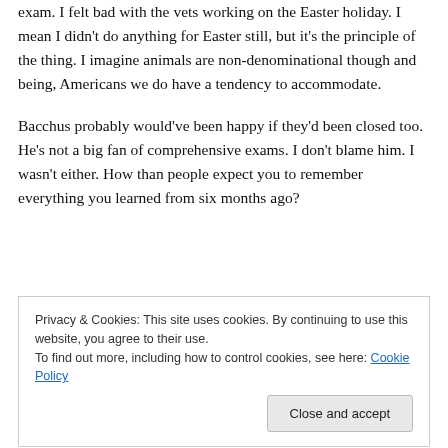exam. I felt bad with the vets working on the Easter holiday. I mean I didn't do anything for Easter still, but it's the principle of the thing. I imagine animals are non-denominational though and being, Americans we do have a tendency to accommodate.
Bacchus probably would've been happy if they'd been closed too. He's not a big fan of comprehensive exams. I don't blame him. I wasn't either. How than people expect you to remember everything you learned from six months ago?
Privacy & Cookies: This site uses cookies. By continuing to use this website, you agree to their use. To find out more, including how to control cookies, see here: Cookie Policy
was cause I was so nice on the phone when they called me to